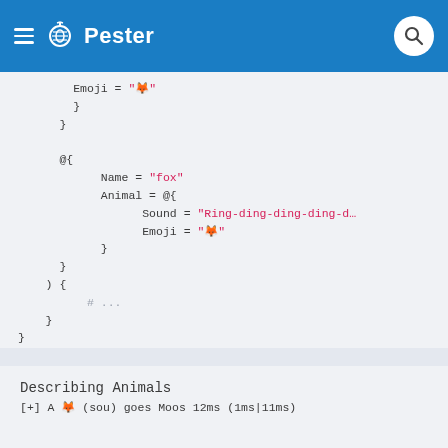Pester
Code block showing PowerShell hashtable with fox animal, Name = "fox", Animal = @{ Sound = "Ring-ding-ding-ding-d...", Emoji = "🦊" }
Describing Animals
[+] A 🦊 (sou) goes Moos 12ms (1ms|11ms)